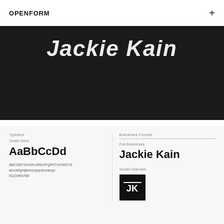OPENFORM
[Figure (photo): Dark hero section showing 'Jackie Kain' in large italic bold white text on black background]
Typeface
Scala Sans
AaBbCcDd
ABCDEFGHIJKLMNOPQRSTUVWXYZ
abcdefghijklmnopqrstuvwxyz
0123456789
Brandmark Formats
Full Brandmark
Jackie Kain
Social Channels
[Figure (logo): JK monogram logo: black square with white horizontal line at top and white letters JK below]